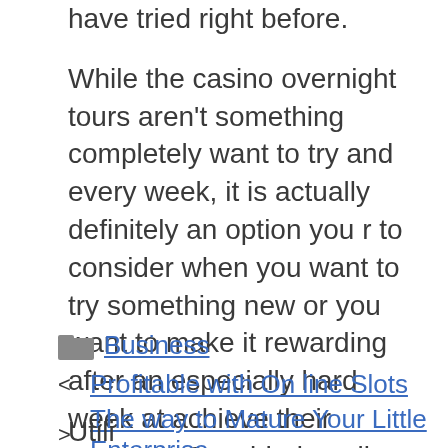have tried right before.

While the casino overnight tours aren't something completely want to try and every week, it is actually definitely an option you r to consider when you want to try something new or you want to make it rewarding after an especially hard week at achieve their purpose. Considering all you end up being do is get into the bus stop, it's need to the easiest ways to gamble and have a nice night through town.
Business
< Profitable with On line Slots
> The way to Mature Your Little Enterprise
Utili...